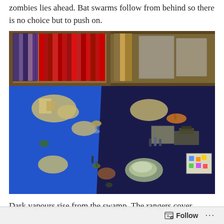zombies lies ahead. Bat swarms follow from behind so there is no choice but to push on.
[Figure (photo): A tabletop miniature wargame setup on a blue cloth surface split between royal blue (left) and dark navy (right) halves. Various painted miniature figures, terrain pieces (ruins, swamp terrain), and gaming accessories are arranged on the table. Bookshelves with books and storage boxes are visible in the background.]
Dark vapours rise from the swamp. The rangers cover
Follow ...